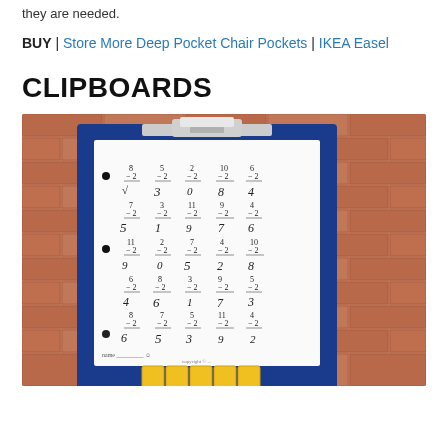they are needed.
BUY | Store More Deep Pocket Chair Pockets | IKEA Easel
CLIPBOARDS
[Figure (photo): A blue clipboard leaning against a brick wall, holding a math worksheet with subtraction problems (subtracting 2 from various numbers). Yellow counting blocks are visible at the bottom.]